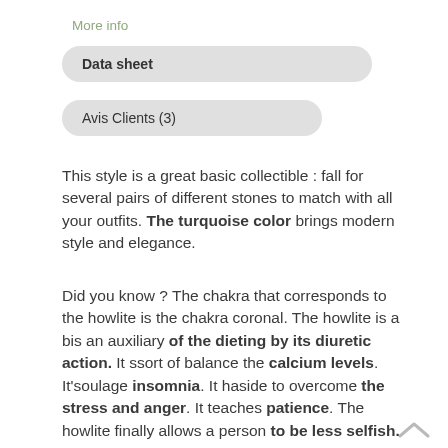More info
Data sheet
Avis Clients (3)
This style is a great basic collectible : fall for several pairs of different stones to match with all your outfits. The turquoise color brings modern style and elegance.
Did you know ? The chakra that corresponds to the howlite is the chakra coronal. The howlite is a bis an auxiliary of the dieting by its diuretic action. It ssort of balance the calcium levels. It'soulage insomnia. It haside to overcome the stress and anger. It teaches patience. The howlite finally allows a person to be less selfish.